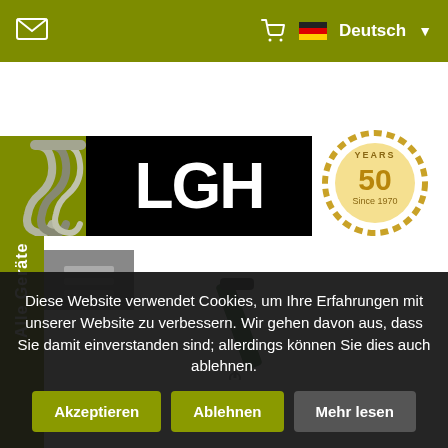LGH website header with email icon, cart, German flag, Deutsch language selector
[Figure (logo): LGH company logo with olive/yellow-green hook icon on left, LGH text in white on black background, 50 Years Since 1970 gold chain badge on right, Alle Geräte vertical sidebar]
[Figure (photo): Partial view of a green lifting device/chain hoist product at the bottom of the hero section]
Diese Website verwendet Cookies, um Ihre Erfahrungen mit unserer Website zu verbessern. Wir gehen davon aus, dass Sie damit einverstanden sind; allerdings können Sie dies auch ablehnen.
Akzeptieren
Ablehnen
Mehr lesen